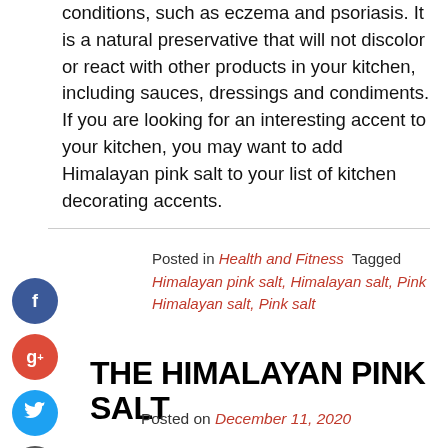conditions, such as eczema and psoriasis. It is a natural preservative that will not discolor or react with other products in your kitchen, including sauces, dressings and condiments. If you are looking for an interesting accent to your kitchen, you may want to add Himalayan pink salt to your list of kitchen decorating accents.
Posted in Health and Fitness  Tagged Himalayan pink salt, Himalayan salt, Pink Himalayan salt, Pink salt
THE HIMALAYAN PINK SALT
Posted on December 11, 2020